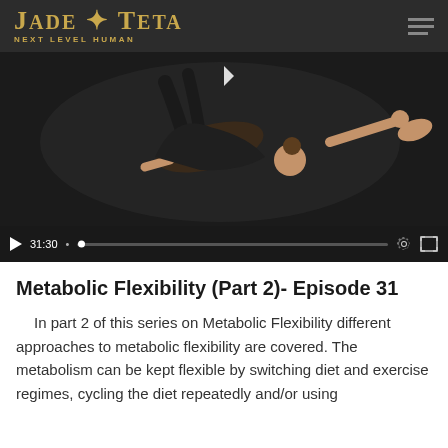JADE TETA — NEXT LEVEL HUMAN
[Figure (screenshot): Video player showing a gymnast/acrobat performing a pose in black outfit against dark background. Video controls show play button, timestamp 31:30, progress bar, settings gear icon, and fullscreen icon.]
Metabolic Flexibility (Part 2)- Episode 31
In part 2 of this series on Metabolic Flexibility different approaches to metabolic flexibility are covered. The metabolism can be kept flexible by switching diet and exercise regimes, cycling the diet repeatedly and/or using